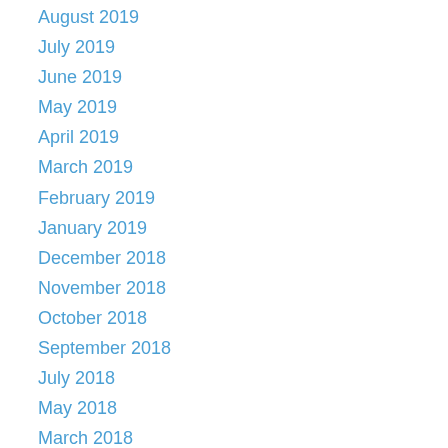August 2019
July 2019
June 2019
May 2019
April 2019
March 2019
February 2019
January 2019
December 2018
November 2018
October 2018
September 2018
July 2018
May 2018
March 2018
February 2018
December 2017
November 2017
October 2017
September 2017